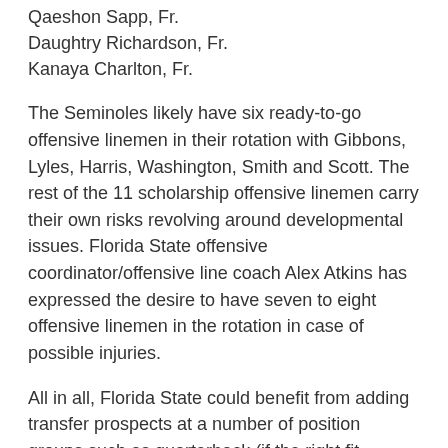Qaeshon Sapp, Fr.
Daughtry Richardson, Fr.
Kanaya Charlton, Fr.
The Seminoles likely have six ready-to-go offensive linemen in their rotation with Gibbons, Lyles, Harris, Washington, Smith and Scott. The rest of the 11 scholarship offensive linemen carry their own risks revolving around developmental issues. Florida State offensive coordinator/offensive line coach Alex Atkins has expressed the desire to have seven to eight offensive linemen in the rotation in case of possible injuries.
All in all, Florida State could benefit from adding transfer prospects at a number of position groups such as quarterback (if the right fit became available), interior offensive lineman, offensive tackle, defensive tackle, linebacker and possibly even at cornerback.